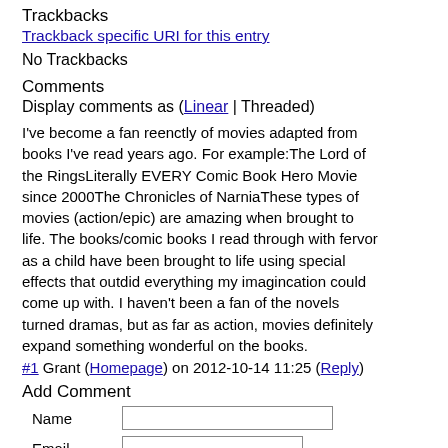Trackbacks
Trackback specific URI for this entry
No Trackbacks
Comments
Display comments as (Linear | Threaded)
I've become a fan reenctly of movies adapted from books I've read years ago. For example:The Lord of the RingsLiterally EVERY Comic Book Hero Movie since 2000The Chronicles of NarniaThese types of movies (action/epic) are amazing when brought to life. The books/comic books I read through with fervor as a child have been brought to life using special effects that outdid everything my imagincation could come up with. I haven't been a fan of the novels turned dramas, but as far as action, movies definitely expand something wonderful on the books.
#1 Grant (Homepage) on 2012-10-14 11:25 (Reply)
Add Comment
Name
Email